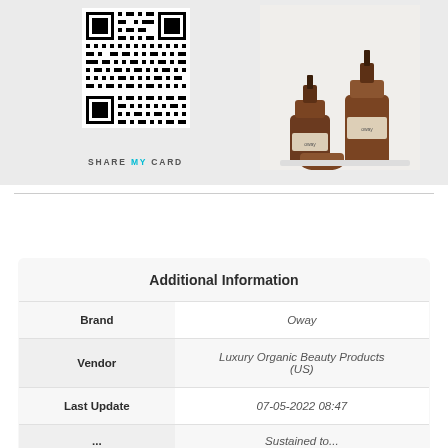[Figure (photo): QR code on left and two amber glass pump bottles (beauty products) on right, against a light grey background. Text 'SHARE MY CARD' below the QR code.]
| Additional Information |
| --- |
| Brand | Oway |
| Vendor | Luxury Organic Beauty Products (US) |
| Last Update | 07-05-2022 08:47 |
| ... | Sustained to... |